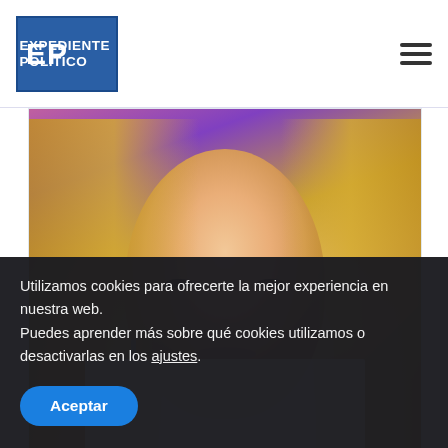Expediente Político
[Figure (photo): Close-up portrait of a blonde woman with straight hair, looking at the camera with a serious expression, wearing a white top, with colorful blurred background]
[Figure (screenshot): Twitter/social media post from Expediente Politico @ExpedientePol · 6h, showing profile avatar with EP logo and blue Twitter bird icon]
Utilizamos cookies para ofrecerte la mejor experiencia en nuestra web.
Puedes aprender más sobre qué cookies utilizamos o desactivarlas en los ajustes.
Aceptar